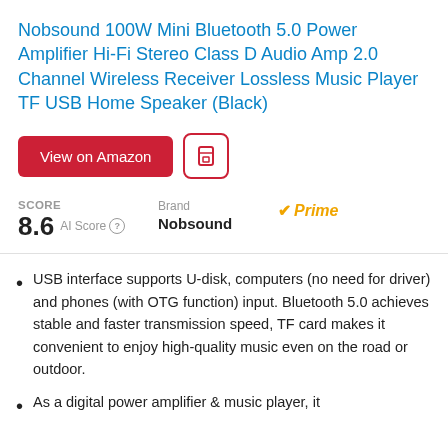Nobsound 100W Mini Bluetooth 5.0 Power Amplifier Hi-Fi Stereo Class D Audio Amp 2.0 Channel Wireless Receiver Lossless Music Player TF USB Home Speaker (Black)
View on Amazon
SCORE
8.6 AI Score
Brand: Nobsound
Prime
USB interface supports U-disk, computers (no need for driver) and phones (with OTG function) input. Bluetooth 5.0 achieves stable and faster transmission speed, TF card makes it convenient to enjoy high-quality music even on the road or outdoor.
As a digital power amplifier & music player, it